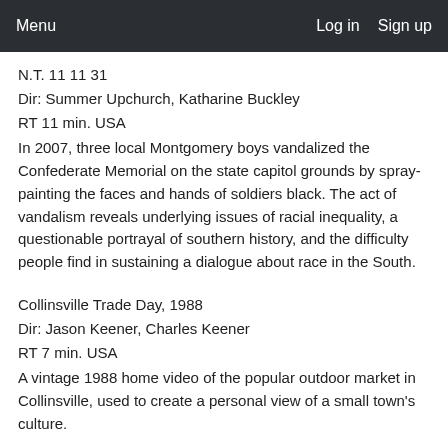Menu    Log in    Sign up
N.T. 11 11 31
Dir: Summer Upchurch, Katharine Buckley
RT 11 min. USA
In 2007, three local Montgomery boys vandalized the Confederate Memorial on the state capitol grounds by spray-painting the faces and hands of soldiers black. The act of vandalism reveals underlying issues of racial inequality, a questionable portrayal of southern history, and the difficulty people find in sustaining a dialogue about race in the South.
Collinsville Trade Day, 1988
Dir: Jason Keener, Charles Keener
RT 7 min. USA
A vintage 1988 home video of the popular outdoor market in Collinsville, used to create a personal view of a small town's culture.